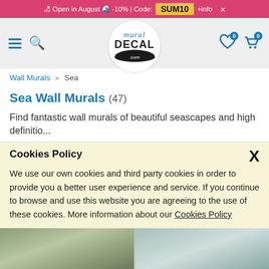🏖 Open in August 🌊 -10% | Code: SUM10 +info ×
[Figure (logo): Mural Decal .com logo in script and bold fonts]
Wall Murals » Sea
Sea Wall Murals (47)
Find fantastic wall murals of beautiful seascapes and high definitio...
Show more +
≡ Topics
Cookies Policy
We use our own cookies and third party cookies in order to provide you a better user experience and service. If you continue to browse and use this website you are agreeing to the use of these cookies. More information about our Cookies Policy
[Figure (photo): Two product preview images of wall murals at the bottom of the page]